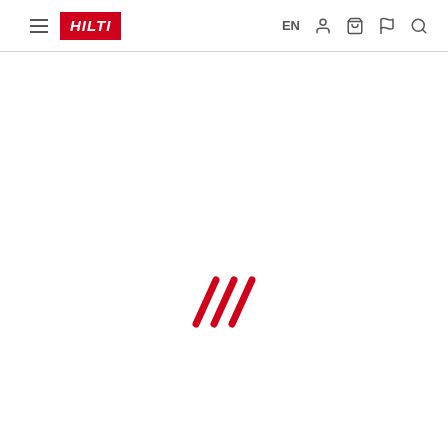Hilti navigation bar with hamburger menu, Hilti logo, EN language selector, user, cart, flag, and search icons
[Figure (other): Red loading spinner consisting of three diagonal parallel lines (///), indicating page content is loading]